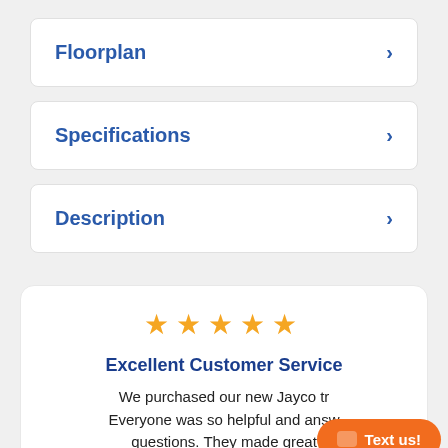Floorplan
Specifications
Description
[Figure (other): Five gold star rating icons]
Excellent Customer Service
We purchased our new Jayco tr... Everyone was so helpful and answ... questions. They made great